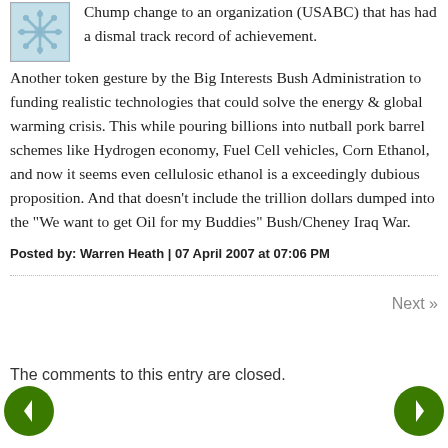Chump change to an organization (USABC) that has had a dismal track record of achievement. Another token gesture by the Big Interests Bush Administration to funding realistic technologies that could solve the energy & global warming crisis. This while pouring billions into nutball pork barrel schemes like Hydrogen economy, Fuel Cell vehicles, Corn Ethanol, and now it seems even cellulosic ethanol is a exceedingly dubious proposition. And that doesn't include the trillion dollars dumped into the "We want to get Oil for my Buddies" Bush/Cheney Iraq War.
Posted by: Warren Heath | 07 April 2007 at 07:06 PM
Next »
The comments to this entry are closed.